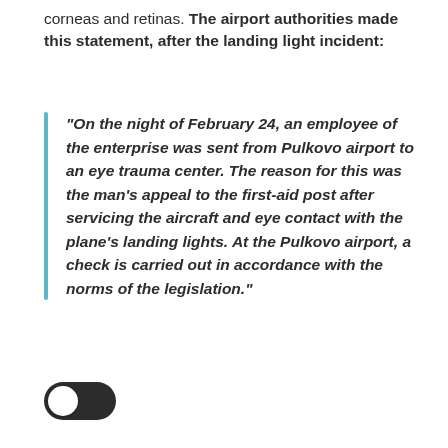corneas and retinas. The airport authorities made this statement, after the landing light incident:
"On the night of February 24, an employee of the enterprise was sent from Pulkovo airport to an eye trauma center. The reason for this was the man's appeal to the first-aid post after servicing the aircraft and eye contact with the plane's landing lights. At the Pulkovo airport, a check is carried out in accordance with the norms of the legislation."
[Figure (other): A toggle switch in off/left position with white knob and dark background]